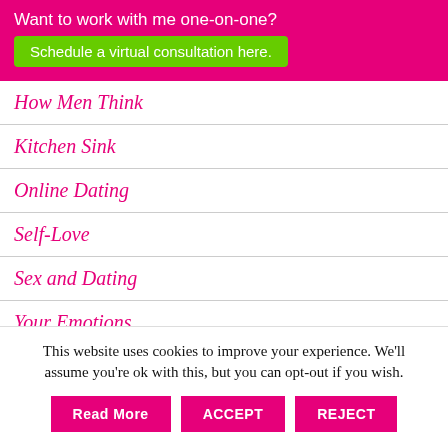Want to work with me one-on-one?
Schedule a virtual consultation here.
How Men Think
Kitchen Sink
Online Dating
Self-Love
Sex and Dating
Your Emotions
This website uses cookies to improve your experience. We'll assume you're ok with this, but you can opt-out if you wish.
Read More | ACCEPT | REJECT